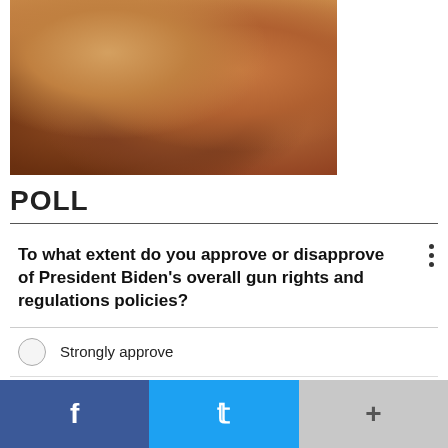[Figure (photo): Close-up photo of a baked casserole dish with golden-brown meat or lasagna in a glass baking dish on a dark surface]
POLL
To what extent do you approve or disapprove of President Biden's overall gun rights and regulations policies?
Strongly approve
Somewhat approve